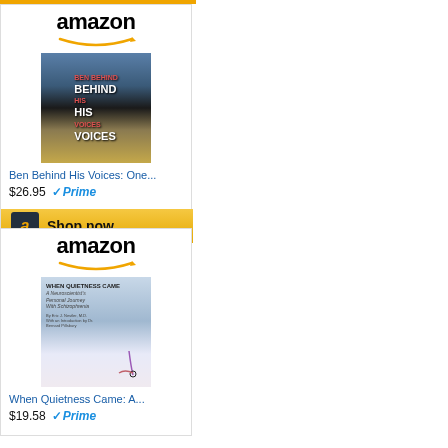[Figure (screenshot): Amazon advertisement for 'Ben Behind His Voices: One...' priced at $26.95 with Prime, with Shop now button]
[Figure (screenshot): Amazon advertisement for 'When Quietness Came: A...' priced at $19.58 with Prime]